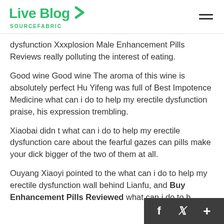Live Blog SOURCEFABRIC
dysfunction Xxxplosion Male Enhancement Pills Reviews really polluting the interest of eating.
Good wine Good wine The aroma of this wine is absolutely perfect Hu Yifeng was full of Best Impotence Medicine what can i do to help my erectile dysfunction praise, his expression trembling.
Xiaobai didn t what can i do to help my erectile dysfunction care about the fearful gazes can pills make your dick bigger of the two of them at all.
Ouyang Xiaoyi pointed to the what can i do to help my erectile dysfunction wall behind Lianfu, and Buy Enhancement Pills Reviewed what can i do to h